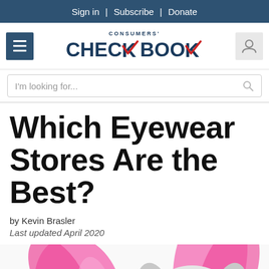Sign in | Subscribe | Donate
[Figure (logo): Consumers' Checkbook logo with hamburger menu and user icon]
I'm looking for...
Which Eyewear Stores Are the Best?
by Kevin Brasler
Last updated April 2020
[Figure (photo): A small dog wearing large tortoiseshell sunglasses and a pink scarf/fabric draped around its neck, photographed on a white background.]